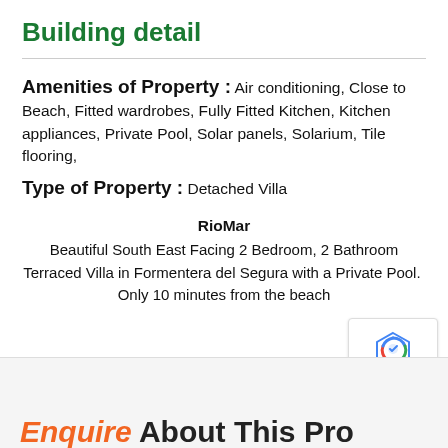Building detail
Amenities of Property : Air conditioning, Close to Beach, Fitted wardrobes, Fully Fitted Kitchen, Kitchen appliances, Private Pool, Solar panels, Solarium, Tile flooring,
Type of Property : Detached Villa
RioMar
Beautiful South East Facing 2 Bedroom, 2 Bathroom Terraced Villa in Formentera del Segura with a Private Pool.  Only 10 minutes from the beach
Enquire About This Property